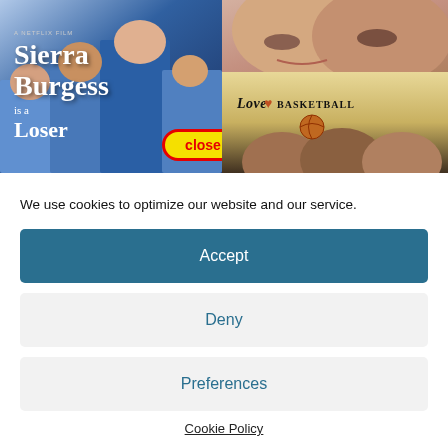[Figure (photo): Movie poster collage showing 'Sierra Burgess is a Loser' Netflix film on the left, and 'Love & Basketball' poster on the right, with a yellow/red 'close' button overlaid at bottom center of left image]
We use cookies to optimize our website and our service.
Accept
Deny
Preferences
Cookie Policy